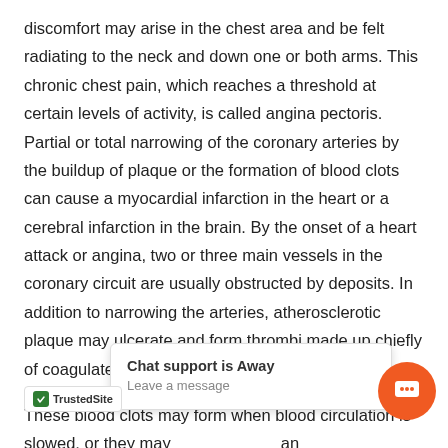discomfort may arise in the chest area and be felt radiating to the neck and down one or both arms. This chronic chest pain, which reaches a threshold at certain levels of activity, is called angina pectoris. Partial or total narrowing of the coronary arteries by the buildup of plaque or the formation of blood clots can cause a myocardial infarction in the heart or a cerebral infarction in the brain. By the onset of a heart attack or angina, two or three main vessels in the coronary circuit are usually obstructed by deposits. In addition to narrowing the arteries, atherosclerotic plaque may ulcerate and form thrombi made up chiefly of coagulated blood platelets.
These blood clots may form when blood circulation is slowed, or they may ... and further ... to be